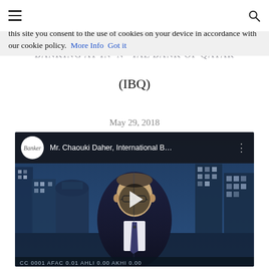☰  [search icon]
this site you consent to the use of cookies on your device in accordance with our cookie policy.  More Info  Got it
BANKING AT IN  IONAL BANK OF QATAR
(IBQ)
May 29, 2018
[Figure (screenshot): YouTube-style embedded video thumbnail showing a man in a dark suit seated for an interview, with a city skyline in the background. The video title bar reads 'Mr. Chaouki Daher, International B...' with a Banker logo circle on the left and a three-dots menu on the right. A play button is centered on the video.]